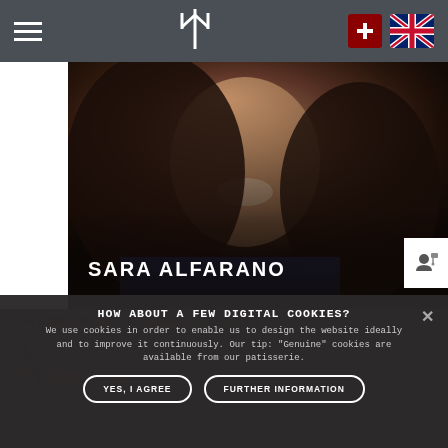Navigation header with hamburger menu, trident logo, Swiss flag and UK flag
[Figure (photo): Professional headshot of Sara Alfarano, a woman with long dark wavy hair, smiling, wearing a dark blazer]
SARA ALFARANO
HR ADMINISTRATOR HUMAN RESOURCES
HOW ABOUT A FEW DIGITAL COOKIES?
We use cookies in order to enable us to design the website ideally and to improve it continuously. Our tip: "Genuine" cookies are available from our patisserie.
YES, I AGREE
FURTHER INFORMATION